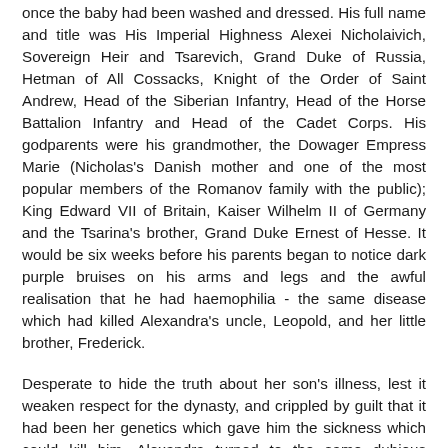once the baby had been washed and dressed. His full name and title was His Imperial Highness Alexei Nicholaivich, Sovereign Heir and Tsarevich, Grand Duke of Russia, Hetman of All Cossacks, Knight of the Order of Saint Andrew, Head of the Siberian Infantry, Head of the Horse Battalion Infantry and Head of the Cadet Corps. His godparents were his grandmother, the Dowager Empress Marie (Nicholas's Danish mother and one of the most popular members of the Romanov family with the public); King Edward VII of Britain, Kaiser Wilhelm II of Germany and the Tsarina's brother, Grand Duke Ernest of Hesse. It would be six weeks before his parents began to notice dark purple bruises on his arms and legs and the awful realisation that he had haemophilia - the same disease which had killed Alexandra's uncle, Leopold, and her little brother, Frederick.
Desperate to hide the truth about her son's illness, lest it weaken respect for the dynasty, and crippled by guilt that it had been her genetics which gave him the sickness which could kill him, Alexandra turned to the same dubious religious solutions she had used when trying to fall pregnant in the first place. When doctors couldn't do anything for her...